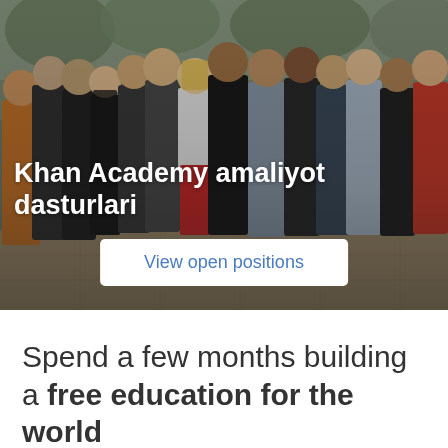[Figure (photo): Group photo of Khan Academy interns/fellows standing together outdoors on a tiled patio with plants in the background. The image has a dark overlay. Text overlay reads 'Khan Academy amaliyot dasturlari' and a button 'View open positions'.]
Khan Academy amaliyot dasturlari
View open positions
Spend a few months building a free education for the world